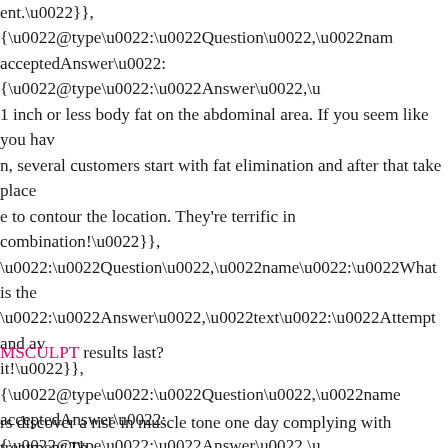ent.\u0022}},{\u0022@type\u0022:\u0022Question\u0022,\u0022nam acceptedAnswer\u0022:{\u0022@type\u0022:\u0022Answer\u0022,\u 1 inch or less body fat on the abdominal area. If you seem like you ha n, several customers start with fat elimination and after that take plac e to contour the location. They're terrific in combination!\u0022}}, \u0022:\u0022Question\u0022,\u0022name\u0022:\u0022What is the \u0022:\u0022Answer\u0022,\u0022text\u0022:\u0022Attempt and av it!\u0022}},{\u0022@type\u0022:\u0022Question\u0022,\u0022name acceptedAnswer\u0022:{\u0022@type\u0022:\u0022Answer\u0022,\u ry time, no anesthetic and also no needles needed. It constructs and en fitness center and faster results than working out alone.\u003cbr\u003 rm your buttocks.\u003cbr\u003eThe standard procedure is simply 4 s r\u003eYou may start to really feel renovation right after the treatmen n the therapies.\u003cbr\u003eResults are seen after 6 weeks, so it's w
MSCULPT results last?
rs discover a rise in muscle tone one day complying with treatment Th